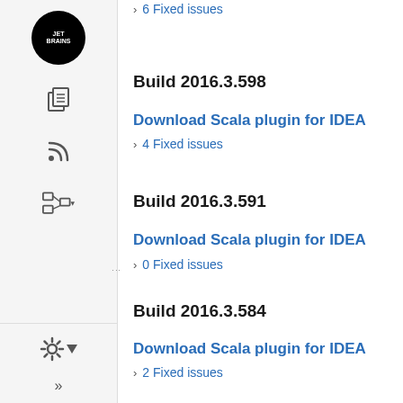6 Fixed issues
Build 2016.3.598
Download Scala plugin for IDEA
4 Fixed issues
Build 2016.3.591
Download Scala plugin for IDEA
0 Fixed issues
Build 2016.3.584
Download Scala plugin for IDEA
2 Fixed issues
Build 2016.3.580
Download Scala plugin for IDEA
1 Fixed issues